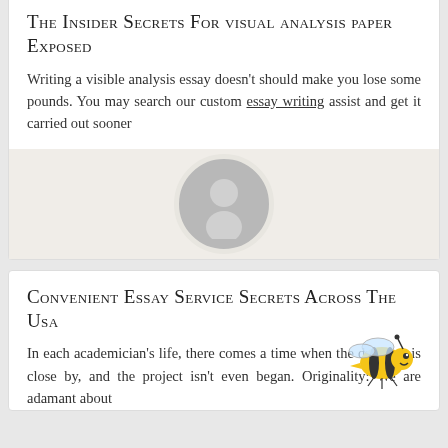The Insider Secrets For visual analysis paper Exposed
Writing a visible analysis essay doesn't should make you lose some pounds. You may search our custom essay writing assist and get it carried out sooner
[Figure (illustration): A circular avatar placeholder icon showing a generic person silhouette, set against a light beige/cream band background]
Convenient Essay Service Secrets Across The Usa
In each academician's life, there comes a time when the due date is close by, and the project isn't even began. Originality: We are adamant about
[Figure (illustration): A cartoon bee illustration in the bottom right area of the second card]